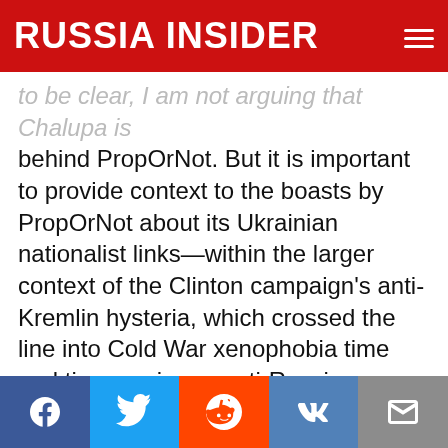RUSSIA INSIDER
to be clear, I am not arguing that Chalupa is behind PropOrNot. But it is important to provide context to the boasts by PropOrNot about its Ukrainian nationalist links—within the larger context of the Clinton campaign's anti-Kremlin hysteria, which crossed the line into Cold War xenophobia time and time again, an anti-Russian xenophobia shared by Clinton's Ukrainian nationalist allies. To me, it looks like a classic case of blowback: A hyper-nationalist group whose extremism happens to be useful to American geopolitical ambitions, and is therefore nurtured to create problems for our competitor. Indeed, the US has cultivated extreme Ukrainian nationalists
Facebook Twitter Reddit VK Email